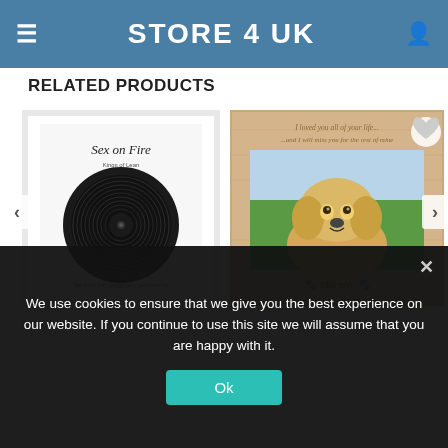STORE 4 UK
RELATED PRODUCTS
[Figure (photo): Framed vinyl record art print reading 'Sex on Fire' by Kings of Leon, personalised for Lucy Watkinson]
[Figure (photo): Wooden photo frame with an engraved inscription 'I loved you all of your life...and I will miss you for the rest of mine' with a photo of a golden Labrador puppy named Murphy]
We use cookies to ensure that we give you the best experience on our website. If you continue to use this site we will assume that you are happy with it.